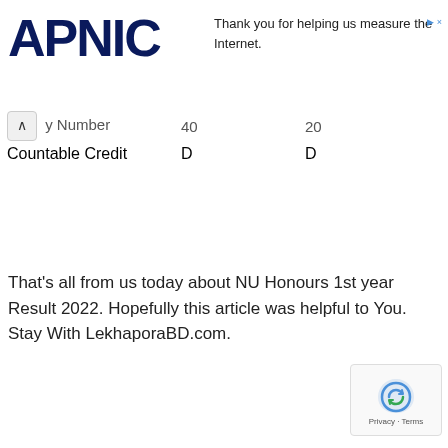APNIC
Thank you for helping us measure the Internet.
|  | 40 | 20 |
| --- | --- | --- |
| Countable Credit | D | D |
That's all from us today about NU Honours 1st year Result 2022. Hopefully this article was helpful to You. Stay With LekhaporaBD.com.